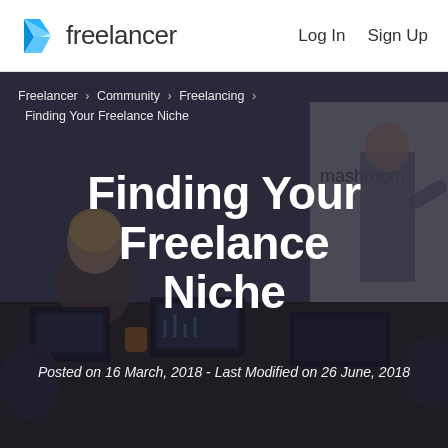[Figure (logo): Freelancer logo with blue angular bird/arrow icon and 'freelancer' wordmark]
Log In    Sign Up
Freelancer › Community › Freelancing › Finding Your Freelance Niche
[Figure (photo): Dark overlay photo of a business meeting room with people sitting around a table with laptops and a person standing at a whiteboard with 'mashroom' written on it]
Finding Your Freelance Niche
Posted on 16 March, 2018 - Last Modified on 26 June, 2018